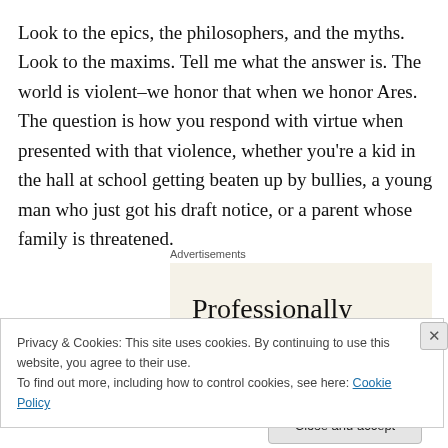Look to the epics, the philosophers, and the myths. Look to the maxims. Tell me what the answer is. The world is violent–we honor that when we honor Ares. The question is how you respond with virtue when presented with that violence, whether you're a kid in the hall at school getting beaten up by bullies, a young man who just got his draft notice, or a parent whose family is threatened.
Advertisements
[Figure (other): Advertisement banner with text 'Professionally designed sites in less']
Privacy & Cookies: This site uses cookies. By continuing to use this website, you agree to their use.
To find out more, including how to control cookies, see here: Cookie Policy
Close and accept